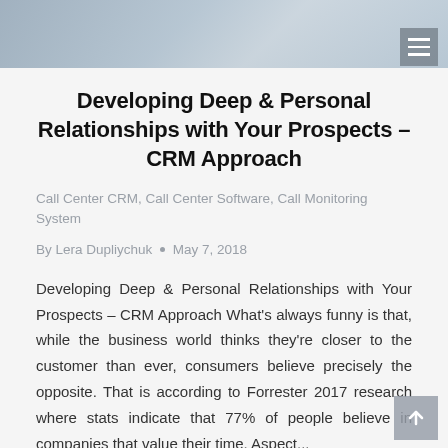[Figure (photo): Photo banner of people in a business/office setting, partially cropped at top]
Developing Deep & Personal Relationships with Your Prospects – CRM Approach
Call Center CRM, Call Center Software, Call Monitoring System
By Lera Dupliychuk · May 7, 2018
Developing Deep & Personal Relationships with Your Prospects – CRM Approach What's always funny is that, while the business world thinks they're closer to the customer than ever, consumers believe precisely the opposite. That is according to Forrester 2017 research where stats indicate that 77% of people believe in companies that value their time. Aspect...